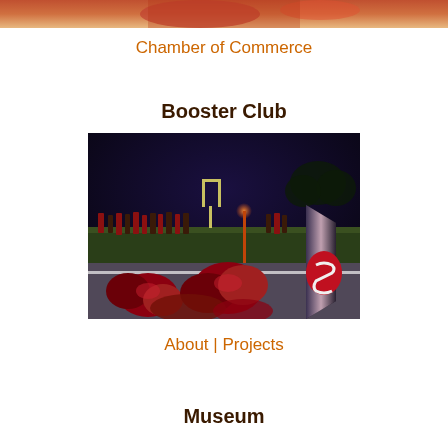[Figure (photo): Partial photo of people at top of page, cropped]
Chamber of Commerce
Booster Club
[Figure (photo): Night photo of a football field with cheerleading pom poms and a megaphone in the foreground, goal posts visible in background, people on the field]
About | Projects
Museum